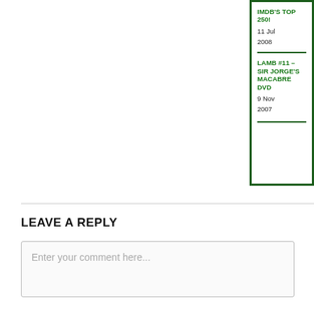IMDB'S TOP 250!
11 Jul 2008
LAMB #11 – SIR JORGE'S MACABRE DVD
9 Nov 2007
LEAVE A REPLY
Enter your comment here...